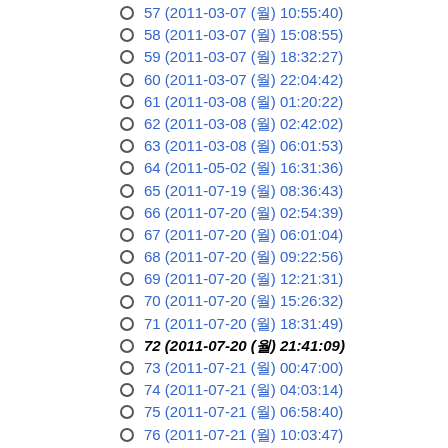57 (2011-03-07 (월) 10:55:40)
58 (2011-03-07 (월) 15:08:55)
59 (2011-03-07 (월) 18:32:27)
60 (2011-03-07 (월) 22:04:42)
61 (2011-03-08 (월) 01:20:22)
62 (2011-03-08 (월) 02:42:02)
63 (2011-03-08 (월) 06:01:53)
64 (2011-05-02 (월) 16:31:36)
65 (2011-07-19 (월) 08:36:43)
66 (2011-07-20 (월) 02:54:39)
67 (2011-07-20 (월) 06:01:04)
68 (2011-07-20 (월) 09:22:56)
69 (2011-07-20 (월) 12:21:31)
70 (2011-07-20 (월) 15:26:32)
71 (2011-07-20 (월) 18:31:49)
72 (2011-07-20 (월) 21:41:09)
73 (2011-07-21 (월) 00:47:00)
74 (2011-07-21 (월) 04:03:14)
75 (2011-07-21 (월) 06:58:40)
76 (2011-07-21 (월) 10:03:47)
77 (2011-07-21 (월) 13:07:17)
78 (2011-07-21 (월) 16:17:04)
79 (2011-07-21 (월) 19:23:32)
80 (2011-07-21 (월) 22:32:54)